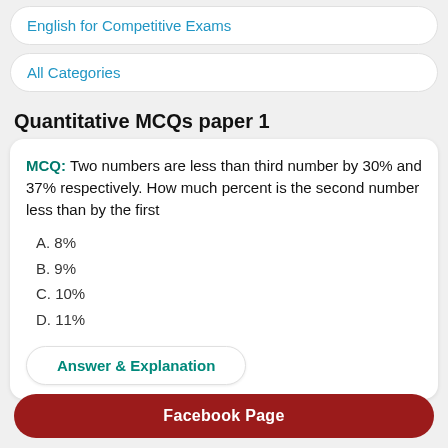English for Competitive Exams
All Categories
Quantitative MCQs paper 1
MCQ: Two numbers are less than third number by 30% and 37% respectively. How much percent is the second number less than by the first
A. 8%
B. 9%
C. 10%
D. 11%
Answer & Explanation
Facebook Page